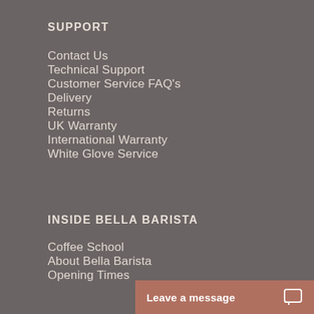SUPPORT
Contact Us
Technical Support
Customer Service FAQ's
Delivery
Returns
UK Warranty
International Warranty
White Glove Service
INSIDE BELLA BARISTA
Coffee School
About Bella Barista
Opening Times
Leave a message